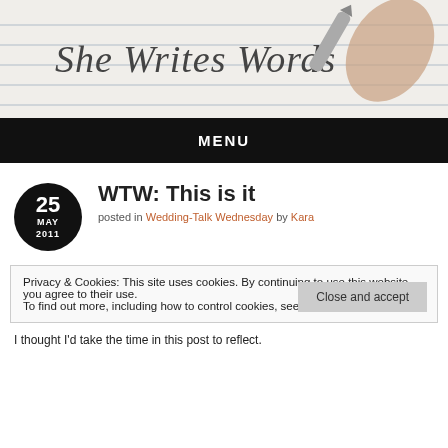[Figure (photo): Header image showing a hand writing 'She Writes Words' in cursive on lined paper with a pen/pencil]
MENU
WTW: This is it
posted in Wedding-Talk Wednesday by Kara
Privacy & Cookies: This site uses cookies. By continuing to use this website, you agree to their use.
To find out more, including how to control cookies, see here: Cookie Policy
I thought I'd take the time in this post to reflect.